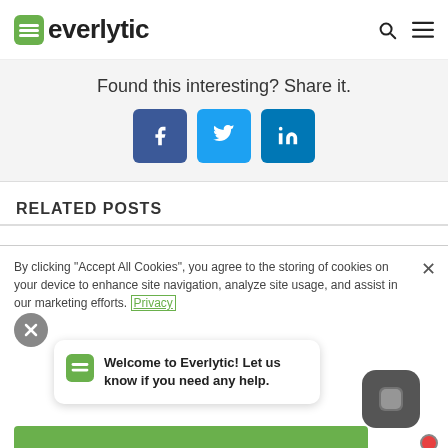[Figure (logo): Everlytic logo with green speech bubble icon and bold text 'everlytic', with search and hamburger menu icons on the right]
Found this interesting? Share it.
[Figure (infographic): Three social media share buttons: Facebook (dark blue, f), Twitter (light blue, bird), LinkedIn (medium blue, in)]
RELATED POSTS
By clicking "Accept All Cookies", you agree to the storing of cookies on your device to enhance site navigation, analyze site usage, and assist in our marketing efforts. Privacy
[Figure (infographic): Chat popup bubble with Everlytic green icon and text: Welcome to Everlytic! Let us know if you need any help.]
[Figure (infographic): Dark grey chat launcher button with red notification dot in bottom right corner]